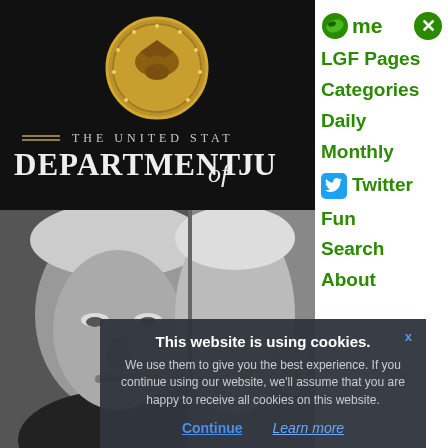[Figure (photo): US Department of Justice seal and banner on dark background with text 'THE UNITED STATES DEPARTMENT OF JUSTICE']
[Figure (photo): Black and white close-up photograph of a person's face, front and side view]
Home
LGF Pages
Categories
Daily
Monthly
Twitter
Fun
Search
About
This website is using cookies.
We use them to give you the best experience. If you continue using our website, we'll assume that you are happy to receive all cookies on this website.
Continue   Learn more